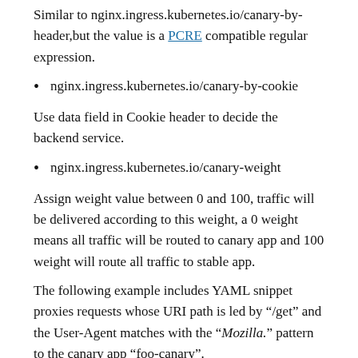Similar to nginx.ingress.kubernetes.io/canary-by-header,but the value is a PCRE compatible regular expression.
nginx.ingress.kubernetes.io/canary-by-cookie
Use data field in Cookie header to decide the backend service.
nginx.ingress.kubernetes.io/canary-weight
Assign weight value between 0 and 100, traffic will be delivered according to this weight, a 0 weight means all traffic will be routed to canary app and 100 weight will route all traffic to stable app.
The following example includes YAML snippet proxies requests whose URI path is led by "/get" and the User-Agent matches with the ".Mozilla." pattern to the canary app "foo-canary".